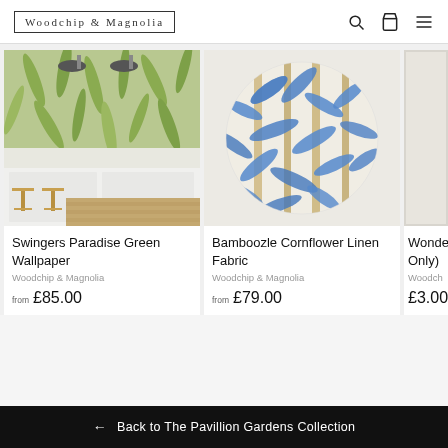Woodchip & Magnolia
[Figure (photo): Kitchen interior with green tropical leaf wallpaper, pendant lights, and wooden bar stools — product image for Swingers Paradise Green Wallpaper]
Swingers Paradise Green Wallpaper
Woodchip & Magnolia
from £85.00
[Figure (photo): Circular swatch of blue bamboo leaf pattern on cream linen background — product image for Bamboozle Cornflower Linen Fabric]
Bamboozle Cornflower Linen Fabric
Woodchip & Magnolia
from £79.00
[Figure (photo): Partially visible third product — Wonde... Only) — cropped at right edge]
Wonde... Only)
Woodch...
£3.00
← Back to The Pavillion Gardens Collection